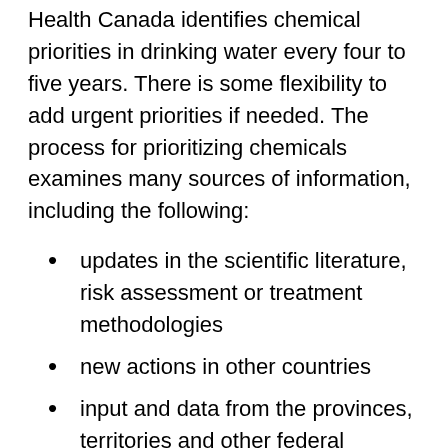Health Canada identifies chemical priorities in drinking water every four to five years. There is some flexibility to add urgent priorities if needed. The process for prioritizing chemicals examines many sources of information, including the following:
updates in the scientific literature, risk assessment or treatment methodologies
new actions in other countries
input and data from the provinces, territories and other federal departments